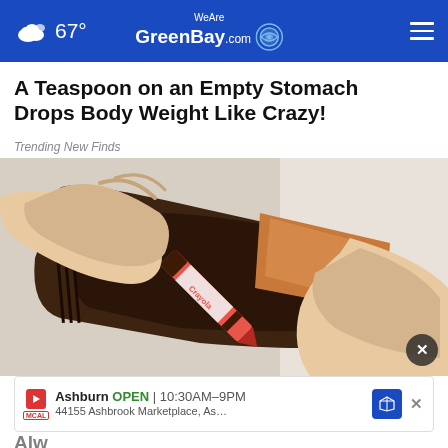67° WeAreGreenBay.com
A Teaspoon on an Empty Stomach Drops Body Weight Like Crazy!
Trending New Finds
[Figure (photo): Hands opening a brown leather wallet with a Crayola crayon inside and paper currency visible]
Ashburn OPEN | 10:30AM–9PM 44155 Ashbrook Marketplace, As…
Alw